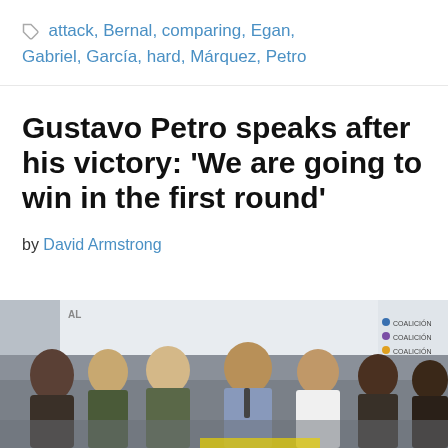attack, Bernal, comparing, Egan, Gabriel, García, hard, Márquez, Petro
Gustavo Petro speaks after his victory: 'We are going to win in the first round'
by David Armstrong
[Figure (photo): Group photo of Gustavo Petro speaking into a microphone while surrounded by supporters, with an election results screen in the background showing 8.52% and coalition legend entries]